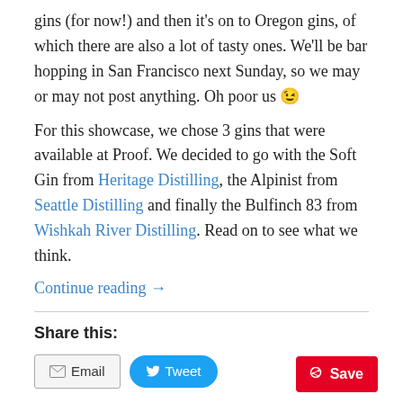gins (for now!) and then it’s on to Oregon gins, of which there are also a lot of tasty ones. We’ll be bar hopping in San Francisco next Sunday, so we may or may not post anything. Oh poor us 😉
For this showcase, we chose 3 gins that were available at Proof. We decided to go with the Soft Gin from Heritage Distilling, the Alpinist from Seattle Distilling and finally the Bulfinch 83 from Wishkah River Distilling. Read on to see what we think.
Continue reading →
Share this:
Email
Tweet
Save